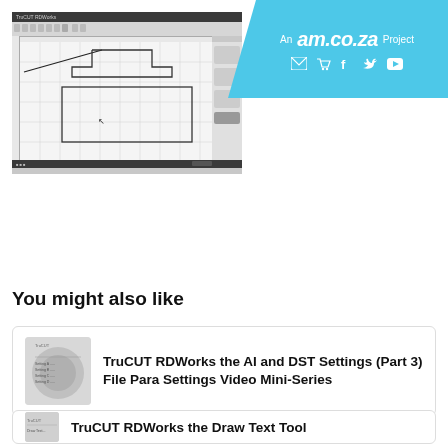[Figure (screenshot): Screenshot of TruCUT RDWorks CAD/laser software showing geometric shapes on a grid canvas with toolbar and panels]
An am.co.za Project
You might also like
[Figure (screenshot): Thumbnail of TruCUT RDWorks AI and DST Settings video]
TruCUT RDWorks the AI and DST Settings (Part 3) File Para Settings Video Mini-Series
[Figure (screenshot): Thumbnail of TruCUT RDWorks Draw Text Tool video]
TruCUT RDWorks the Draw Text Tool